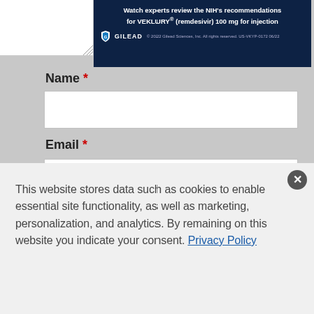[Figure (screenshot): Gilead advertisement banner: dark navy background with text 'Watch experts review the NIH's recommendations for VEKLURY® (remdesivir) 100 mg for injection', Gilead shield logo, copyright '© 2022 Gilead Sciences, Inc. All rights reserved. US-VKYP-0172 06/22']
Name *
Email *
Post Comment
[Figure (screenshot): Blue banner with white wing/bird logo and circuit-line graphic elements on blue gradient background]
This website stores data such as cookies to enable essential site functionality, as well as marketing, personalization, and analytics. By remaining on this website you indicate your consent. Privacy Policy